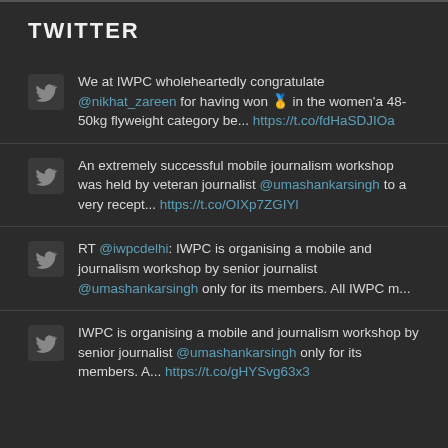TWITTER
We at IWPC wholeheartedly congratulate @nikhat_zareen for having won 🥇 in the women'a 48-50kg flyweight category be... https://t.co/fdHaSDJIOa
An extremely successful mobile journalism workshop was held by veteran journalist @umashankarsingh to a very recept... https://t.co/OIXp7ZGIYl
RT @iwpcdelhi: IWPC is organising a mobile and journalism workshop by senior journalist @umashankarsingh only for its members. All IWPC m...
IWPC is organising a mobile and journalism workshop by senior journalist @umashankarsingh only for its members. A... https://t.co/gHYSvg63x3